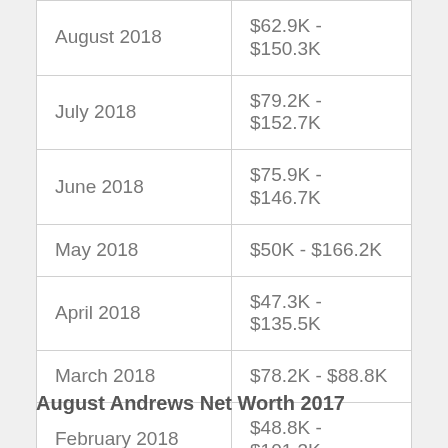| Month | Net Worth Range |
| --- | --- |
| August 2018 | $62.9K - $150.3K |
| July 2018 | $79.2K - $152.7K |
| June 2018 | $75.9K - $146.7K |
| May 2018 | $50K - $166.2K |
| April 2018 | $47.3K - $135.5K |
| March 2018 | $78.2K - $88.8K |
| February 2018 | $48.8K - $101.3K |
| January 2018 | $49.8K - $152.9K |
August Andrews Net Worth 2017